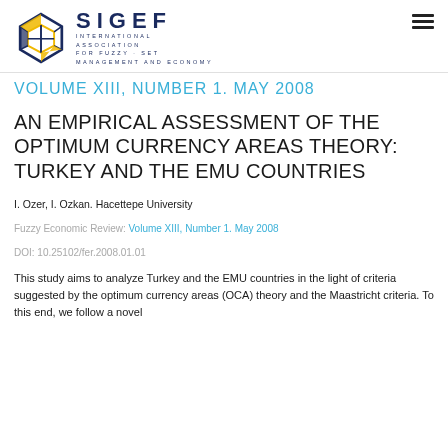SIGEF INTERNATIONAL ASSOCIATION FOR FUZZY SET MANAGEMENT AND ECONOMY
VOLUME XIII, NUMBER 1. MAY 2008
AN EMPIRICAL ASSESSMENT OF THE OPTIMUM CURRENCY AREAS THEORY: TURKEY AND THE EMU COUNTRIES
I. Ozer, I. Ozkan. Hacettepe University
Fuzzy Economic Review: Volume XIII, Number 1. May 2008
DOI: 10.25102/fer.2008.01.01
This study aims to analyze Turkey and the EMU countries in the light of criteria suggested by the optimum currency areas (OCA) theory and the Maastricht criteria. To this end, we follow a novel